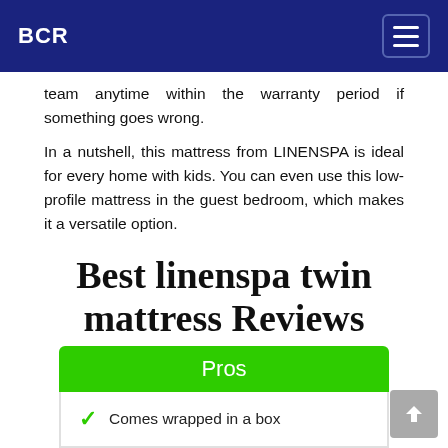BCR
team anytime within the warranty period if something goes wrong.
In a nutshell, this mattress from LINENSPA is ideal for every home with kids. You can even use this low-profile mattress in the guest bedroom, which makes it a versatile option.
Best linenspa twin mattress Reviews
Pros
Comes wrapped in a box